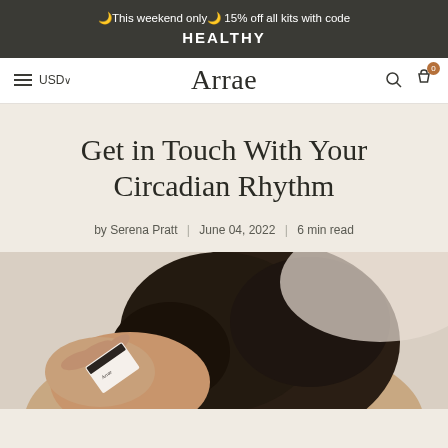🌙This weekend only🌙 15% off all kits with code HEALTHY
≡ USD ∨   Arrae   🔍 🛒 0
Get in Touch With Your Circadian Rhythm
by Serena Pratt | June 04, 2022 | 6 min read
[Figure (photo): Person holding an Arrae product box up to their face, viewed from above. Dark curly hair visible. Beige/cream background.]